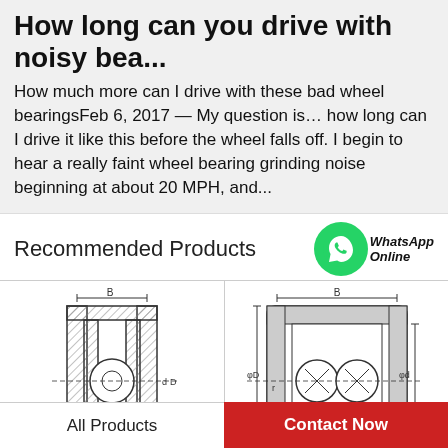How long can you drive with noisy bea...
How much more can I drive with these bad wheel bearingsFeb 6, 2017 — My question is… how long can I drive it like this before the wheel falls off. I begin to hear a really faint wheel bearing grinding noise beginning at about 20 MPH, and...
Recommended Products
[Figure (engineering-diagram): Technical cross-section diagram of a single-row ball bearing showing inner/outer rings, ball element, and dimensional labels B, d, D]
[Figure (engineering-diagram): Technical cross-section diagram of a double-row ball bearing showing inner/outer rings, two ball elements, and dimensional labels B, r, d, D with WhatsApp Online overlay]
All Products
Contact Now